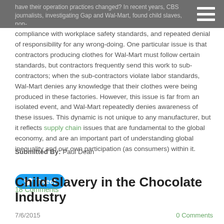compliance with workplace safety standards, and repeated denial of responsibility for any wrong-doing. One particular issue is that contractors producing clothes for Wal-Mart must follow certain standards, but contractors frequently send this work to sub-contractors; when the sub-contractors violate labor standards, Wal-Mart denies any knowledge that their clothes were being produced in these factories. However, this issue is far from an isolated event, and Wal-Mart repeatedly denies awareness of these issues. This dynamic is not unique to any manufacturer, but it reflects supply chain issues that are fundamental to the global economy, and are an important part of understanding global inequality and our own participation (as consumers) within it.
Submitted By: Paul Dean
[Figure (other): Tweet button with Twitter bird icon]
18 Comments
Child Slavery in the Chocolate Industry
7/6/2015    0 Comments